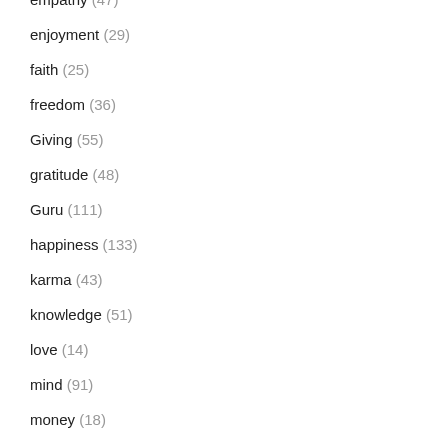empathy (47)
enjoyment (29)
faith (25)
freedom (36)
Giving (55)
gratitude (48)
Guru (111)
happiness (133)
karma (43)
knowledge (51)
love (14)
mind (91)
money (18)
motivation (159)
PR skills (19)